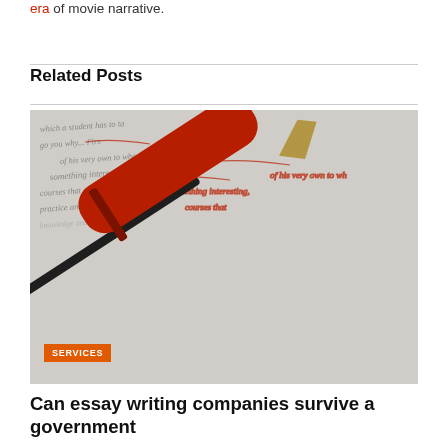era of movie narrative.
Related Posts
[Figure (photo): A red pen resting on a page of text with red annotations, symbolizing essay writing and editing services.]
SERVICES
Can essay writing companies survive a government